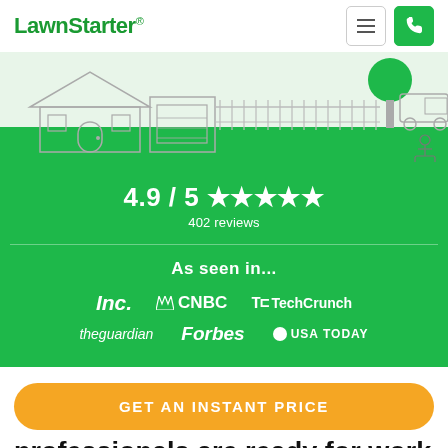LawnStarter
[Figure (illustration): Line-art illustration of a house with fence, a tree, a truck, and a person mowing lawn on a light green background]
4.9 / 5 ★★★★★  402 reviews
As seen in...
[Figure (logo): Media logos: Inc., CNBC, TechCrunch, theguardian, Forbes, USA TODAY]
GET AN INSTANT PRICE
professionals are ready for work